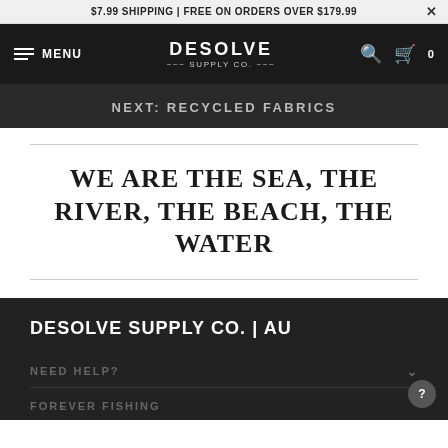$7.99 SHIPPING | FREE ON ORDERS OVER $179.99
MENU | DESOLVE SUPPLY CO. | 0
NEXT: RECYCLED FABRICS
WE ARE THE SEA, THE RIVER, THE BEACH, THE WATER
DESOLVE SUPPLY CO. | AU
NEED HELP?
FOREVER FISHING